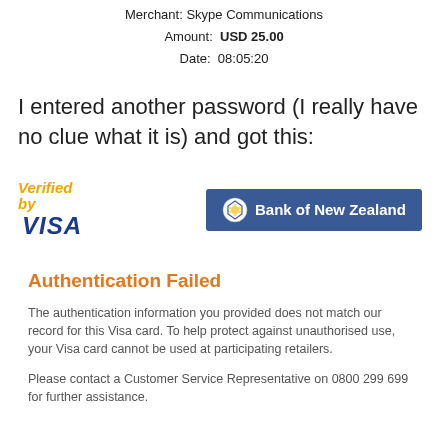Merchant: Skype Communications
Amount: USD 25.00
Date: 08:05:20
I entered another password (I really have no clue what it is) and got this:
[Figure (logo): Verified by VISA logo (italic, blue and gold) alongside Bank of New Zealand logo (white text on blue background with emblem)]
Authentication Failed
The authentication information you provided does not match our record for this Visa card. To help protect against unauthorised use, your Visa card cannot be used at participating retailers.
Please contact a Customer Service Representative on 0800 299 699 for further assistance.